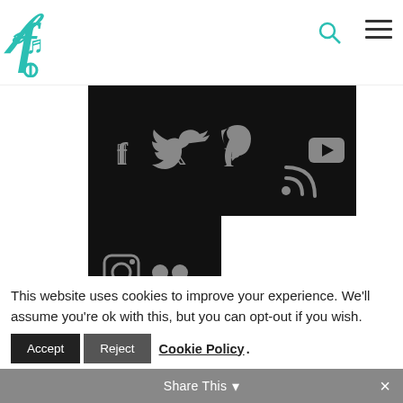famvin logo, search icon, menu icon
[Figure (screenshot): Black social media icons panel showing Facebook, Twitter, Pinterest, RSS, YouTube in top row; Instagram and Flickr/more in bottom row]
The .famvin digital network of The Vincentian Family is licensed under a Creative Commons
This website uses cookies to improve your experience. We'll assume you're ok with this, but you can opt-out if you wish.
Accept  Reject  Cookie Policy  Share This  ×